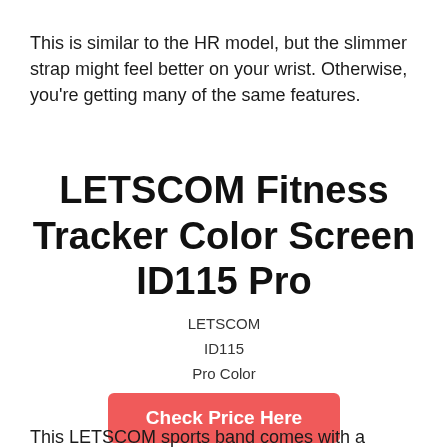This is similar to the HR model, but the slimmer strap might feel better on your wrist. Otherwise, you're getting many of the same features.
LETSCOM Fitness Tracker Color Screen ID115 Pro
LETSCOM
ID115
Pro Color
Check Price Here
This LETSCOM sports band comes with a